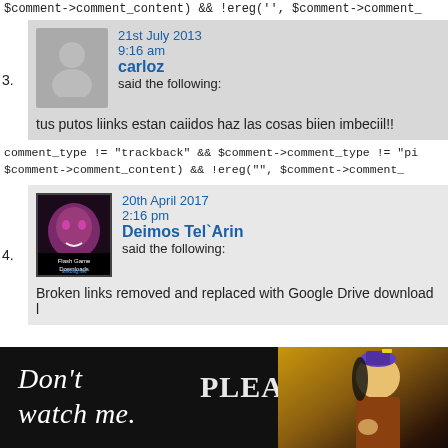$comment->comment_content) && !ereg('', $comment->comment_
21st July 2013
9:16 am
carloz
said the following:
tus putos liinks estan caiidos haz las cosas biien imbeciil!!
comment_type != "trackback" && $comment->comment_type != "pi"
$comment->comment_content) && !ereg("", $comment->comment_
20th April 2017
2:16 pm
Deimos Tel`Arin
said the following:
Broken links removed and replaced with Google Drive download l
[Figure (illustration): Dark background banner ad with white italic text 'Don't watch me. PLEASE...' and a fantasy/anime character on the right side]